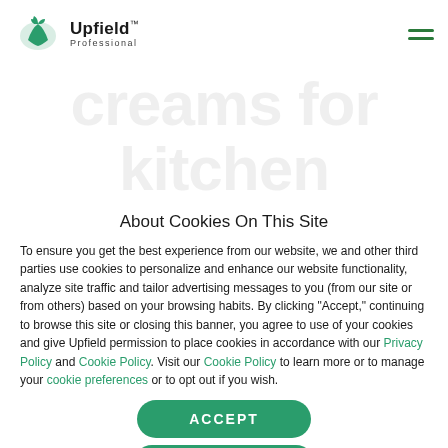Upfield Professional
based fats and creams for kitchen efficiency
About Cookies On This Site
To ensure you get the best experience from our website, we and other third parties use cookies to personalize and enhance our website functionality, analyze site traffic and tailor advertising messages to you (from our site or from others) based on your browsing habits. By clicking "Accept," continuing to browse this site or closing this banner, you agree to use of your cookies and give Upfield permission to place cookies in accordance with our Privacy Policy and Cookie Policy. Visit our Cookie Policy to learn more or to manage your cookie preferences or to opt out if you wish.
ACCEPT
OPTIONS